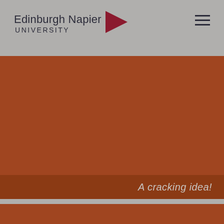[Figure (logo): Edinburgh Napier University logo with dark red triangle/arrow and text]
[Figure (illustration): Hamburger menu icon (three horizontal lines) in top right corner]
[Figure (photo): Large rust/brown colored hero image area]
A cracking idea!
[Figure (illustration): Bottom rust/brown colored section]